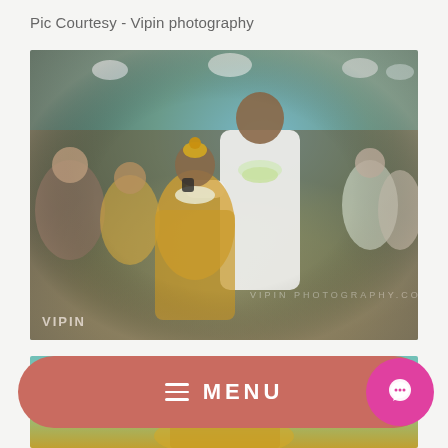Pic Courtesy - Vipin photography
[Figure (photo): South Indian wedding ceremony photo: groom in white shirt with green and white flower garland placing garland on bride wearing traditional gold jewelry and yellow silk saree, surrounded by wedding guests]
[Figure (photo): Partial view of another wedding ceremony photo at the bottom of the page, partially obscured by menu bar]
MENU